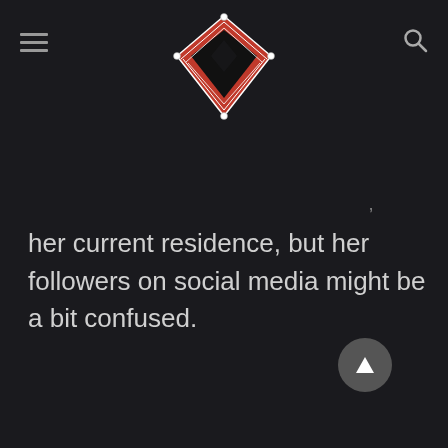[Figure (logo): Wrestling/boxing ring logo with red mat and white ropes, top-down view, diamond shape]
her current residence, but her followers on social media might be a bit confused.